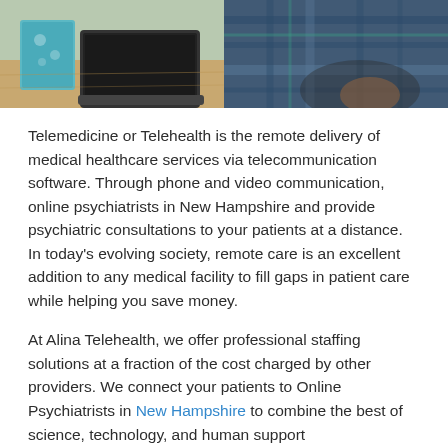[Figure (photo): Partial view of a telemedicine/telehealth setting: a desk with a book and laptop on the left side, and a person in a plaid shirt on the right side, cropped at the top of the page.]
Telemedicine or Telehealth is the remote delivery of medical healthcare services via telecommunication software. Through phone and video communication, online psychiatrists in New Hampshire and provide psychiatric consultations to your patients at a distance. In today’s evolving society, remote care is an excellent addition to any medical facility to fill gaps in patient care while helping you save money.
At Alina Telehealth, we offer professional staffing solutions at a fraction of the cost charged by other providers. We connect your patients to Online Psychiatrists in New Hampshire to combine the best of science, technology, and human support